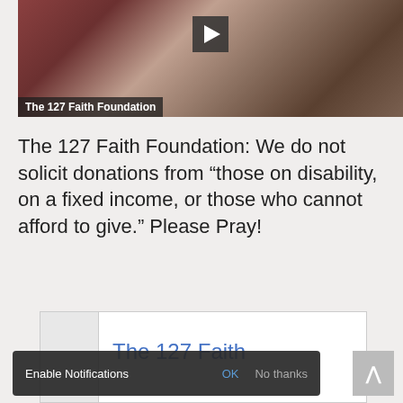[Figure (screenshot): Video thumbnail showing a person in a red plaid shirt sitting at a desk with a microphone, with a play button overlay. Label reads 'The 127 Faith Foundation'.]
The 127 Faith Foundation: We do not solicit donations from “those on disability, on a fixed income, or those who cannot afford to give.” Please Pray!
[Figure (screenshot): Partial card showing 'The 127 Faith' text in blue, partially obscured by notification bar.]
Enable Notifications   OK   No thanks